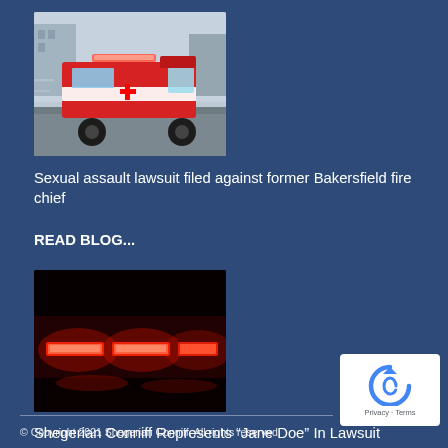[Figure (photo): Red and white ambulance in motion on a street]
Sexual assault lawsuit filed against former Bakersfield fire chief
READ BLOG...
[Figure (photo): Close-up of red emergency lights glowing in the dark]
Shegerian Conniff Represents “Jane Doe” In Lawsuit Against former Bakersfield Fire Chief
READ BLOG...
[Figure (logo): reCAPTCHA badge with Privacy and Terms links]
© Copyright 2021 Shegerian Conniff. All rights reserved.